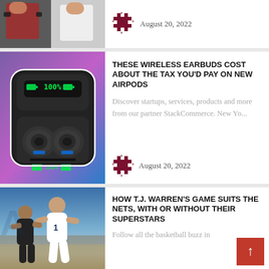[Figure (photo): Partial top card showing sports photo (cropped athletes) and a date badge with August 20, 2022]
August 20, 2022
[Figure (photo): Wireless earbuds in charging case with green LED display showing 100% on purple/blue gradient background]
THESE WIRELESS EARBUDS COST ABOUT THE TAX YOU'D PAY ON NEW AIRPODS
Discover startups, services, products and more from our partner StackCommerce. New Yo...
August 20, 2022
[Figure (photo): Basketball player wearing jersey number 1 (T.J. Warren) driving to basket in arena setting]
HOW T.J. WARREN'S GAME SUITS THE NETS, WITH OR WITHOUT THEIR SUPERSTARS
Follow all the basketball buzz in